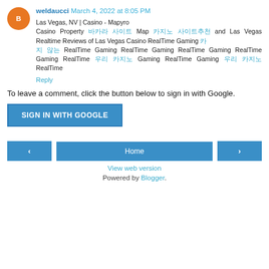weldaucci March 4, 2022 at 8:05 PM
Las Vegas, NV | Casino - Mapyro
Casino Property [Korean] Map [Korean] and Las Vegas Realtime Reviews of Las Vegas Casino RealTime Gaming [Korean] RealTime Gaming RealTime Gaming RealTime Gaming RealTime Gaming RealTime [Korean] Gaming RealTime Gaming [Korean] RealTime
Reply
To leave a comment, click the button below to sign in with Google.
SIGN IN WITH GOOGLE
Home
View web version
Powered by Blogger.